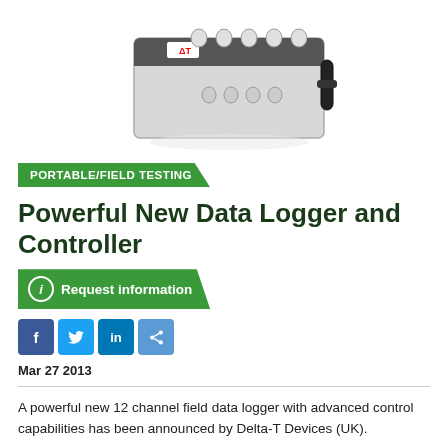[Figure (photo): Photo of a data logger/controller device (white enclosure with multiple cable connectors on top and a black cable tie on the side), shown from a slightly elevated angle against a white background.]
PORTABLE/FIELD TESTING
Powerful New Data Logger and Controller
Request information
Mar 27 2013
A powerful new 12 channel field data logger with advanced control capabilities has been announced by Delta-T Devices (UK).